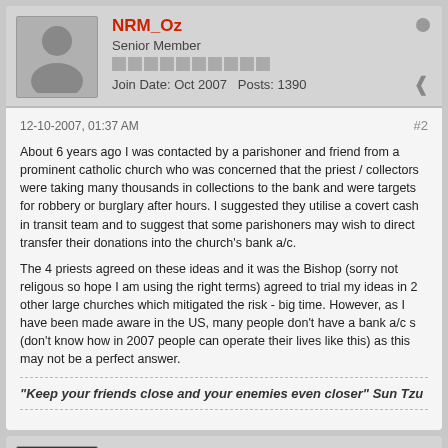NRM_Oz
Senior Member
Join Date: Oct 2007   Posts: 1390
12-10-2007, 01:37 AM
#2
About 6 years ago I was contacted by a parishoner and friend from a prominent catholic church who was concerned that the priest / collectors were taking many thousands in collections to the bank and were targets for robbery or burglary after hours. I suggested they utilise a covert cash in transit team and to suggest that some parishoners may wish to direct transfer their donations into the church's bank a/c.
The 4 priests agreed on these ideas and it was the Bishop (sorry not religous so hope I am using the right terms) agreed to trial my ideas in 2 other large churches which mitigated the risk - big time. However, as I have been made aware in the US, many people don't have a bank a/c s (don't know how in 2007 people can operate their lives like this) as this may not be a perfect answer.
"Keep your friends close and your enemies even closer" Sun Tzu
SecTrainer
Senior Member